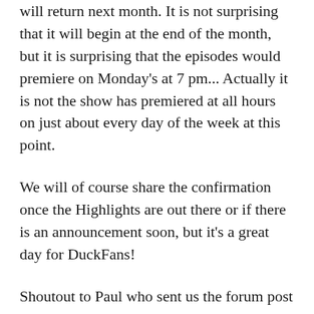will return next month. It is not surprising that it will begin at the end of the month, but it is surprising that the episodes would premiere on Monday's at 7 pm... Actually it is not the show has premiered at all hours on just about every day of the week at this point.
We will of course share the confirmation once the Highlights are out there or if there is an announcement soon, but it's a great day for DuckFans!
Shoutout to Paul who sent us the forum post in an email! Source: